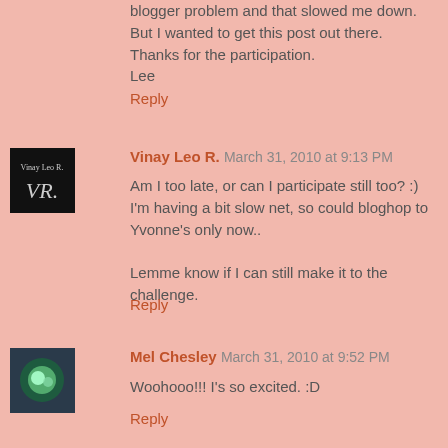blogger problem and that slowed me down. But I wanted to get this post out there.
Thanks for the participation.
Lee
Reply
Vinay Leo R. March 31, 2010 at 9:13 PM
Am I too late, or can I participate still too? :)
I'm having a bit slow net, so could bloghop to Yvonne's only now..

Lemme know if I can still make it to the challenge.
Reply
Mel Chesley March 31, 2010 at 9:52 PM
Woohooo!!! I's so excited. :D
Reply